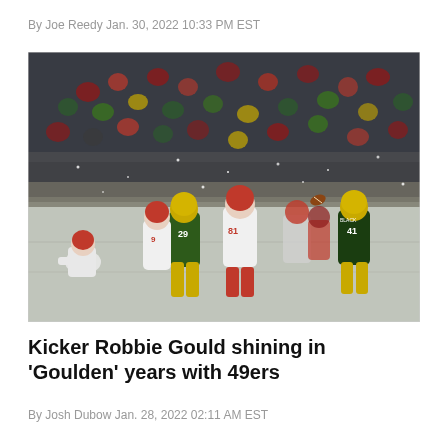By Joe Reedy Jan. 30, 2022 10:33 PM EST
[Figure (photo): Football game photo showing San Francisco 49ers kicker and Green Bay Packers players on a snowy field during a playoff game, with a large crowd in the background. Players visible include number 81 in white (49ers), number 29 in green and yellow (Packers), number 9 in white (49ers), and number 41 in green (Packers, 'BLACK' on jersey). A football is visible in the air. Snowy/wintry conditions on the field.]
Kicker Robbie Gould shining in 'Goulden' years with 49ers
By Josh Dubow Jan. 28, 2022 02:11 AM EST